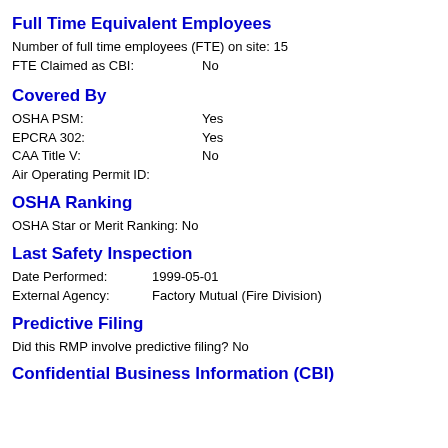Full Time Equivalent Employees
Number of full time employees (FTE) on site: 15
FTE Claimed as CBI:    No
Covered By
OSHA PSM:    Yes
EPCRA 302:    Yes
CAA Title V:    No
Air Operating Permit ID:
OSHA Ranking
OSHA Star or Merit Ranking: No
Last Safety Inspection
Date Performed:  1999-05-01
External Agency: Factory Mutual (Fire Division)
Predictive Filing
Did this RMP involve predictive filing? No
Confidential Business Information (CBI)